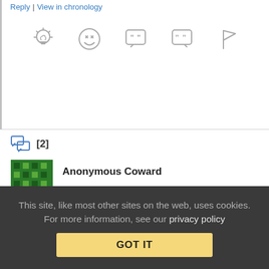Reply | View in chronology
[Figure (infographic): Row of 5 action icons: lightbulb (insightful), laughing emoji (funny), quote bubble (quote this comment), quote bubble with marks (reply with quote), flag (report)]
[Figure (infographic): Thread/comment icon with [2] reply count badge]
Anonymous Coward   July 21, 2014 at 5:49 pm
Re: Re:
And? This applies to any profession or group of people. It's an accepted onus that the good people should be amending the bad people and stopping from making them look bad.
This site, like most other sites on the web, uses cookies. For more information, see our privacy policy
GOT IT